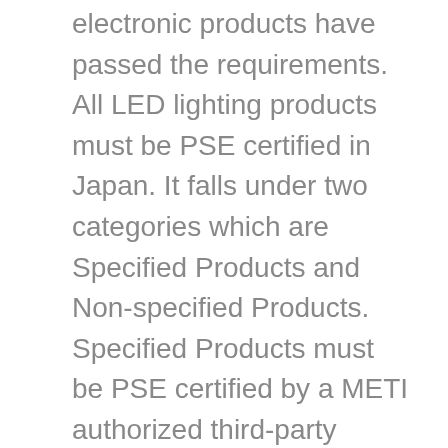electronic products have passed the requirements. All LED lighting products must be PSE certified in Japan. It falls under two categories which are Specified Products and Non-specified Products. Specified Products must be PSE certified by a METI authorized third-party certification body. These products have a diamond PSE mark. Non-specified products must be certified by a qualified certification body or compliance may be self-declared by the manufacturer. These products must have a circle PSE logo.